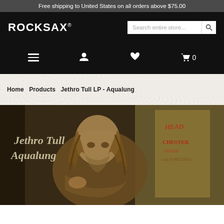Free shipping to United States on all orders above $75.00
[Figure (logo): ROCKSAX logo in white bold text on black background with search bar]
[Figure (screenshot): Navigation bar with hamburger menu, user icon, heart/wishlist icon, and cart icon with 0 items]
Home  Products  Jethro Tull LP - Aqualung
[Figure (photo): Jethro Tull Aqualung album cover showing a disheveled homeless man in brown tones with gothic text reading Jethro Tull Aqualung]